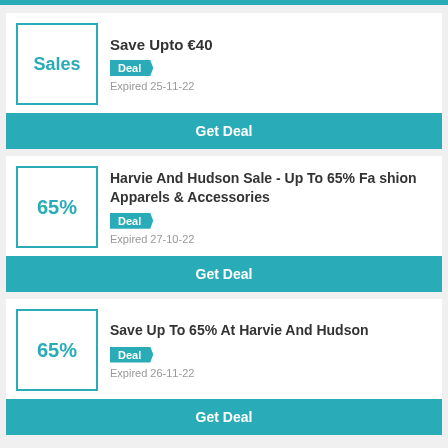[Figure (other): Teal top bar]
Sales | Save Upto €40 | Deal | Expired 25-11-22 | Get Deal
65% | Harvie And Hudson Sale - Up To 65% Fashion Apparels & Accessories | Deal | Expired 27-10-22 | Get Deal
65% | Save Up To 65% At Harvie And Hudson | Deal | Expired 26-11-22 | Get Deal